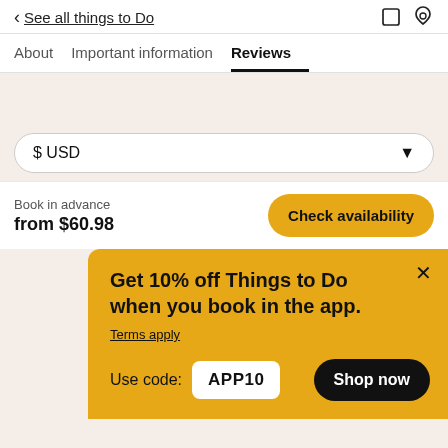See all things to Do
About   Important information   Reviews
$ USD
Book in advance
from $60.98
Check availability
Get 10% off Things to Do when you book in the app.
Terms apply
Use code: APP10
Shop now